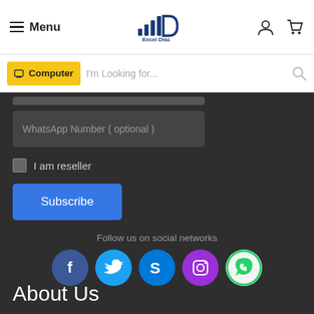Menu | Excel Disc | User | Cart
Computer | I'm Looking for...
WhatsApp Number ( optional )
I am reseller
Subscribe
Follow us on social networks
[Figure (infographic): Social media icons: Facebook, Twitter, Skype, Instagram, WhatsApp]
About Us